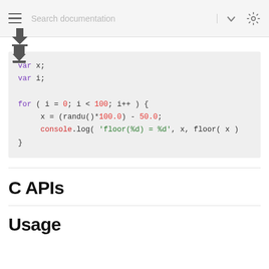Search documentation
[Figure (other): Download arrow icon]
var x;
var i;

for ( i = 0; i < 100; i++ ) {
    x = (randu()*100.0) - 50.0;
    console.log( 'floor(%d) = %d', x, floor( x ) )
}
C APIs
Usage